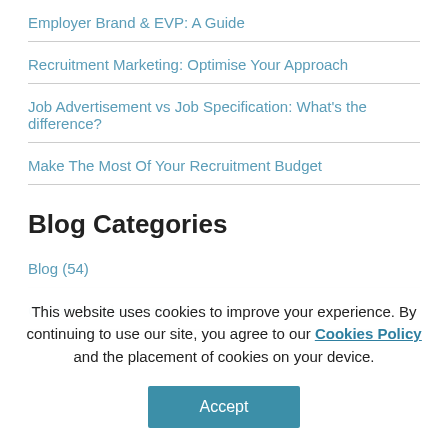Employer Brand & EVP: A Guide
Recruitment Marketing: Optimise Your Approach
Job Advertisement vs Job Specification: What's the difference?
Make The Most Of Your Recruitment Budget
Blog Categories
Blog (54)
Career development (1)
This website uses cookies to improve your experience. By continuing to use our site, you agree to our Cookies Policy and the placement of cookies on your device.
Accept